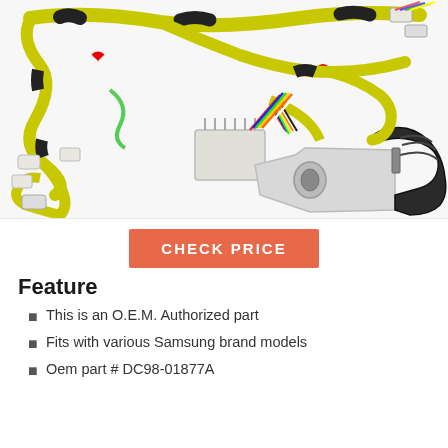[Figure (photo): Product photo showing a yellow and black wire harness assembly with multiple connectors and a white/black rubber boot or hose adapter component for a Samsung washing machine.]
CHECK PRICE
Feature
This is an O.E.M. Authorized part
Fits with various Samsung brand models
Oem part # DC98-01877A